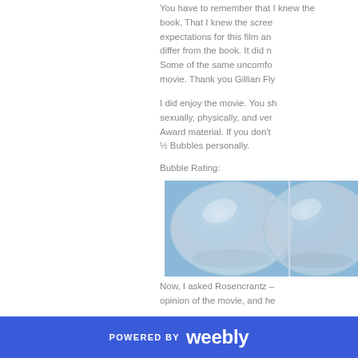You have to remember that I knew the book. That I knew the scree… expectations for this film and… differ from the book. It did n… Some of the same uncomfo… movie. Thank you Gillian Fly…
I did enjoy the movie. You sh… sexually, physically, and ver… Award material. If you don't… ½ Bubbles personally.
Bubble Rating:
[Figure (photo): Two translucent soap bubbles on a blue background, representing the bubble rating for the movie review.]
Now, I asked Rosencrantz – opinion of the movie, and he…
POWERED BY weebly